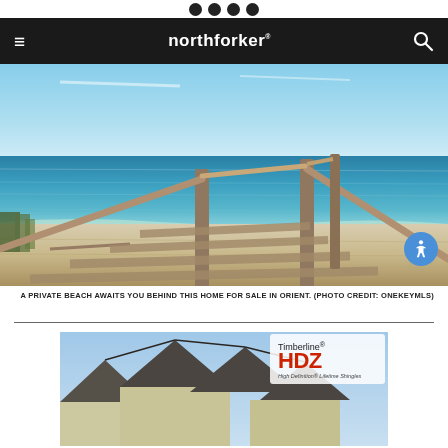northforker
[Figure (photo): Aerial view of wooden boardwalk steps leading down to a private sandy beach with clear blue water and Long Island Sound in the background, sunny day with blue sky]
A PRIVATE BEACH AWAITS YOU BEHIND THIS HOME FOR SALE IN ORIENT. (PHOTO CREDIT: ONEKEYMLS)
[Figure (photo): Timberline HDZ High Definition Lifetime Shingles advertisement showing a house with dark roof shingles and multiple gabled peaks]